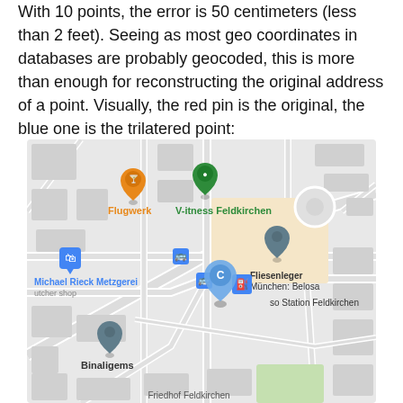With 10 points, the error is 50 centimeters (less than 2 feet). Seeing as most geo coordinates in databases are probably geocoded, this is more than enough for reconstructing the original address of a point. Visually, the red pin is the original, the blue one is the trilatered point:
[Figure (map): Google Maps screenshot of Feldkirchen area showing street map with location pins: orange cocktail glass pin labeled 'Flugwerk', green teardrop pin labeled 'V-itness Feldkirchen', blue shopping bag pin labeled 'Michael Rieck Metzgerei butcher shop', dark gray pin labeled 'Fliesenleger München: Belosa', blue 'C' teardrop pin (trilatered point), small blue bus stop icons, fuel station icon labeled 'aso Station Feldkirchen', dark gray pin labeled 'Binaligems', and partially visible 'Friedhof Feldkirchen' at bottom.]